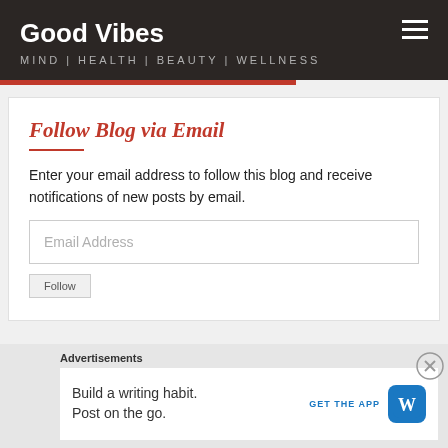Good Vibes — MIND | HEALTH | BEAUTY | WELLNESS
Follow Blog via Email
Enter your email address to follow this blog and receive notifications of new posts by email.
[Figure (screenshot): Email address input field with placeholder text 'Email Address' and a Follow button below it]
Advertisements
Build a writing habit. Post on the go. GET THE APP [WordPress logo]